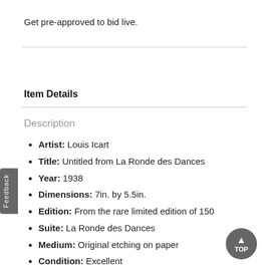Get pre-approved to bid live.
Item Details
Description
Artist: Louis Icart
Title: Untitled from La Ronde des Dances
Year: 1938
Dimensions: 7in. by 5.5in.
Edition: From the rare limited edition of 150
Suite: La Ronde des Dances
Medium: Original etching on paper
Condition: Excellent
Signature Details: Stamp Signed for Authenticity